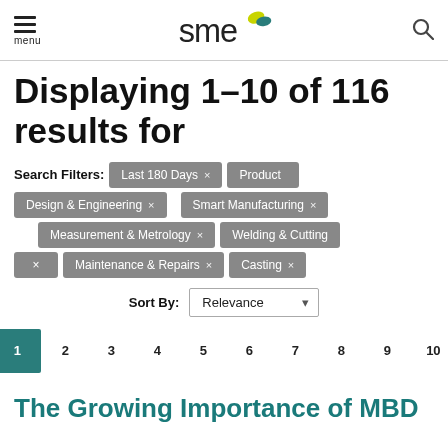menu | SME | search
Displaying 1–10 of 116 results for
Search Filters: Last 180 Days × | Product Design & Engineering × | Smart Manufacturing × | Measurement & Metrology × | Welding & Cutting × | Maintenance & Repairs × | Casting ×
Sort By: Relevance
PREV 1 2 3 4 5 6 7 8 9 10 NEXT
The Growing Importance of MBD